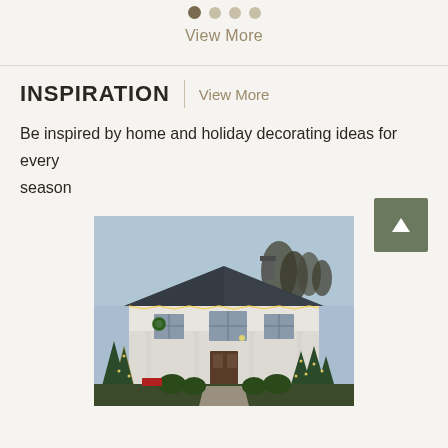[Figure (other): Carousel navigation dots: one active dark dot followed by three lighter dots]
View More
INSPIRATION | View More
Be inspired by home and holiday decorating ideas for every season
[Figure (photo): Exterior photo of a white ranch-style house decorated with Christmas lights, evergreen trees, wreaths, and holiday decorations along the front porch and yard at dusk.]